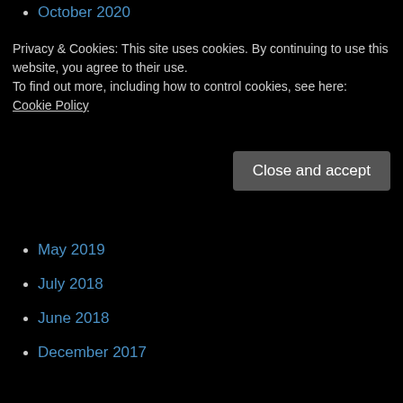October 2020
Privacy & Cookies: This site uses cookies. By continuing to use this website, you agree to their use.
To find out more, including how to control cookies, see here: Cookie Policy
Close and accept
May 2019
July 2018
June 2018
December 2017
April 2016
Pre-Order TX-1696